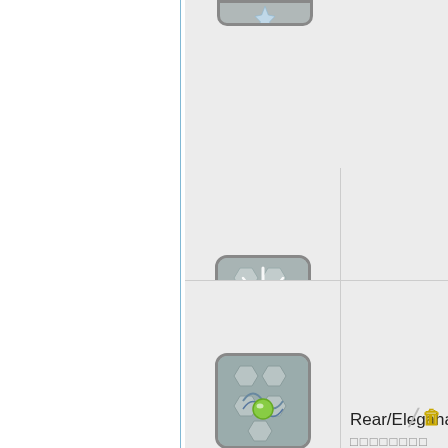[Figure (screenshot): Game UI table showing item list. Top row shows partial cropped item icon. Middle row shows 'Rear/Aijehate' with a spiky blue crystal explosion icon and a gold badge icon (delete/trash). Bottom row shows 'Rear/Elegahate' with a green sphere on hexagon icon and a gold badge with slash.]
Rear/Aijehate
□□□□□□□□□□
Rear/Elegahate
□□□□□□□□